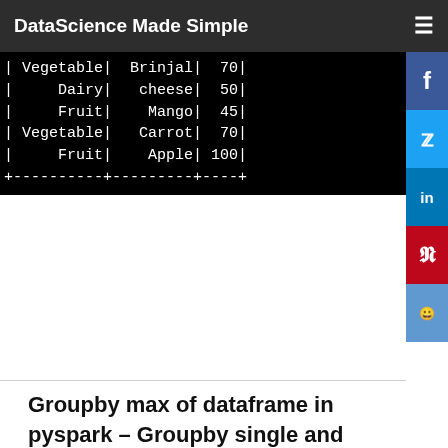DataScience Made Simple
[Figure (screenshot): Black terminal/console output showing a table with rows: | Vegetable | Brinjal | 70 |, | Dairy | cheese | 50 |, | Fruit | Mango | 45 |, | Vegetable | Carrot | 70 |, | Fruit | Apple | 100 |, followed by a dashed separator line.]
Groupby max of dataframe in pyspark – Groupby single and multiple column: